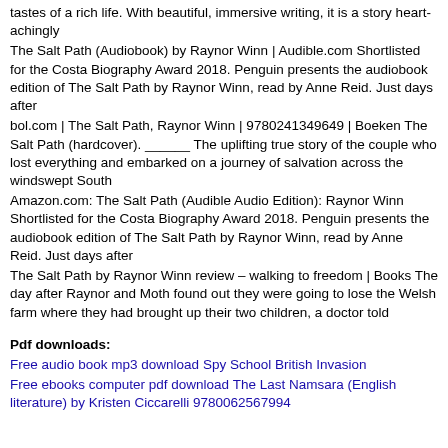tastes of a rich life. With beautiful, immersive writing, it is a story heart-achingly
The Salt Path (Audiobook) by Raynor Winn | Audible.com Shortlisted for the Costa Biography Award 2018. Penguin presents the audiobook edition of The Salt Path by Raynor Winn, read by Anne Reid. Just days after
bol.com | The Salt Path, Raynor Winn | 9780241349649 | Boeken The Salt Path (hardcover). ______ The uplifting true story of the couple who lost everything and embarked on a journey of salvation across the windswept South
Amazon.com: The Salt Path (Audible Audio Edition): Raynor Winn Shortlisted for the Costa Biography Award 2018. Penguin presents the audiobook edition of The Salt Path by Raynor Winn, read by Anne Reid. Just days after
The Salt Path by Raynor Winn review – walking to freedom | Books The day after Raynor and Moth found out they were going to lose the Welsh farm where they had brought up their two children, a doctor told
Pdf downloads:
Free audio book mp3 download Spy School British Invasion
Free ebooks computer pdf download The Last Namsara (English literature) by Kristen Ciccarelli 9780062567994